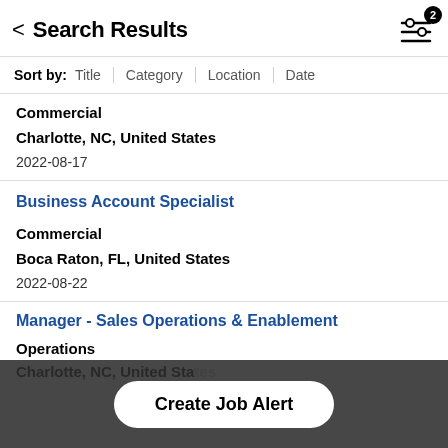Search Results
Sort by: Title | Category | Location | Date
Commercial
Charlotte, NC, United States
2022-08-17
Business Account Specialist
Commercial
Boca Raton, FL, United States
2022-08-22
Manager - Sales Operations & Enablement
Operations
Charlotte, NC, United States
Create Job Alert